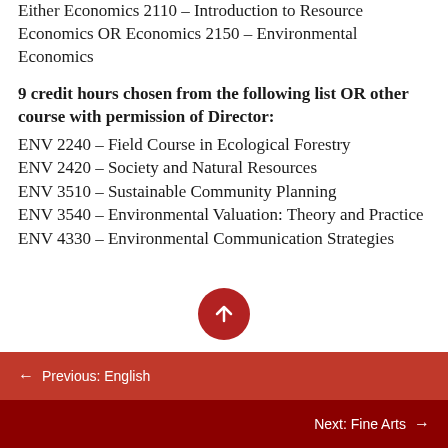Either Economics 2110 – Introduction to Resource Economics OR Economics 2150 – Environmental Economics
9 credit hours chosen from the following list OR other course with permission of Director:
ENV 2240 – Field Course in Ecological Forestry
ENV 2420 – Society and Natural Resources
ENV 3510 – Sustainable Community Planning
ENV 3540 – Environmental Valuation: Theory and Practice
ENV 4330 – Environmental Communication Strategies
← Previous: English
Next: Fine Arts →